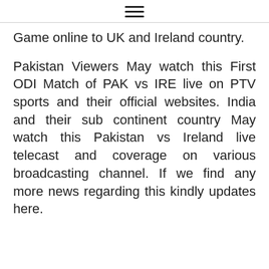≡
Game online to UK and Ireland country.
Pakistan Viewers May watch this First ODI Match of PAK vs IRE live on PTV sports and their official websites. India and their sub continent country May watch this Pakistan vs Ireland live telecast and coverage on various broadcasting channel. If we find any more news regarding this kindly updates here.